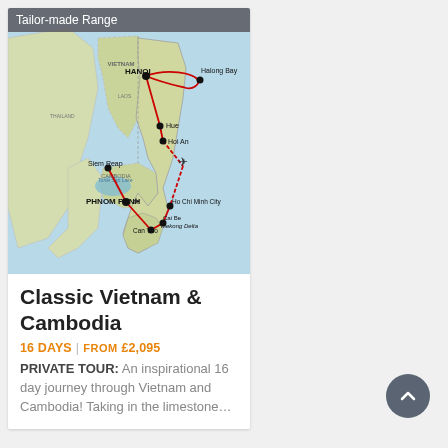[Figure (map): Tour route map of Vietnam and Cambodia showing stops at Hanoi, Halong Bay, Hue, Hoi An, Ho Chi Minh City, Cai Be / Mekong Delta, Can Tho, Phnom Penh, and Siem Reap connected by red lines]
Tailor-made Range
Classic Vietnam & Cambodia
16 DAYS | FROM £2,095
PRIVATE TOUR: An inspirational 16 day journey through Vietnam and Cambodia! Taking in the limestone…